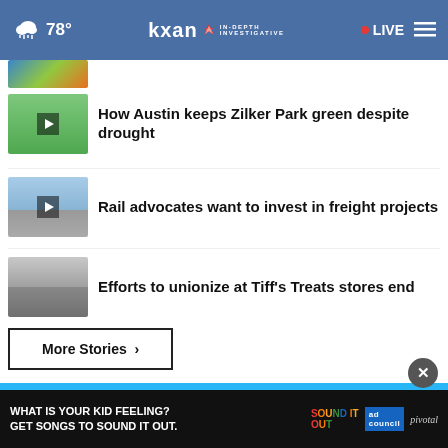kxan IN-DEPTH INVESTIGATIVE | 78° | LIVE
[Figure (screenshot): Partially visible colorful thumbnail at top]
How Austin keeps Zilker Park green despite drought
Rail advocates want to invest in freight projects
Efforts to unionize at Tiff's Treats stores end
More Stories ›
[Figure (screenshot): Advertisement banner: WHAT IS YOUR KID FEELING? GET SONGS TO SOUND IT OUT. Sound It Out | ad council | pivotal]